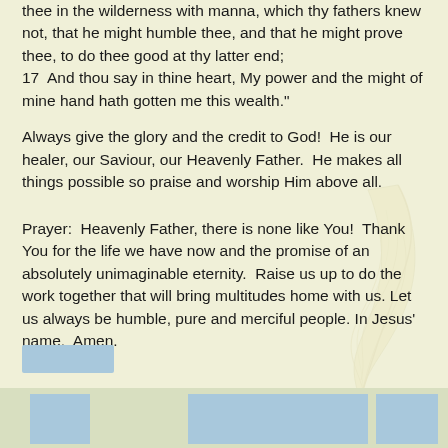thee in the wilderness with manna, which thy fathers knew not, that he might humble thee, and that he might prove thee, to do thee good at thy latter end;
17  And thou say in thine heart, My power and the might of mine hand hath gotten me this wealth."
Always give the glory and the credit to God!  He is our healer, our Saviour, our Heavenly Father.  He makes all things possible so praise and worship Him above all.
Prayer:  Heavenly Father, there is none like You!  Thank You for the life we have now and the promise of an absolutely unimaginable eternity.  Raise us up to do the work together that will bring multitudes home with us. Let us always be humble, pure and merciful people. In Jesus' name.  Amen.
[Figure (other): Light blue rectangular button element]
[Figure (other): Footer bar with three light blue rectangular boxes]
[Figure (illustration): Faint feather watermark in cream/yellow tones on the right side of the page]